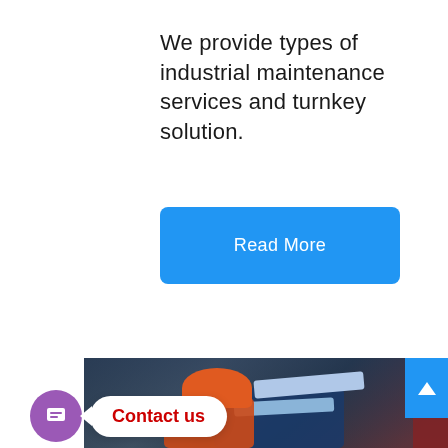We provide types of industrial maintenance services and turnkey solution.
[Figure (other): Blue 'Read More' button with rounded corners]
[Figure (photo): Industrial workers in blue and orange safety uniforms and hard hats working near machinery]
Contact us